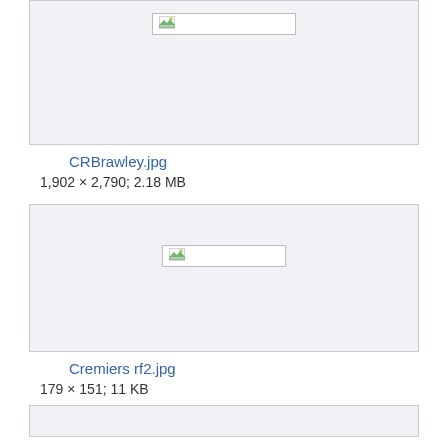[Figure (photo): Broken image placeholder for CRBrawley.jpg in a light gray box]
CRBrawley.jpg
1,902 × 2,790; 2.18 MB
[Figure (photo): Broken image placeholder for Cremiers rf2.jpg in a light gray box]
Cremiers rf2.jpg
179 × 151; 11 KB
[Figure (photo): Partial broken image placeholder at bottom of page]